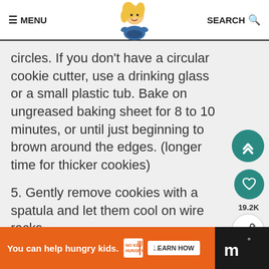≡ MENU   [logo]   SEARCH 🔍
circles. If you don't have a circular cookie cutter, use a drinking glass or a small plastic tub. Bake on ungreased baking sheet for 8 to 10 minutes, or until just beginning to brown around the edges. (longer time for thicker cookies)
5. Gently remove cookies with a spatula and let them cool on wire racks.
Prepare the icing:
You can help hungry kids. [No Kid Hungry] LEARN HOW